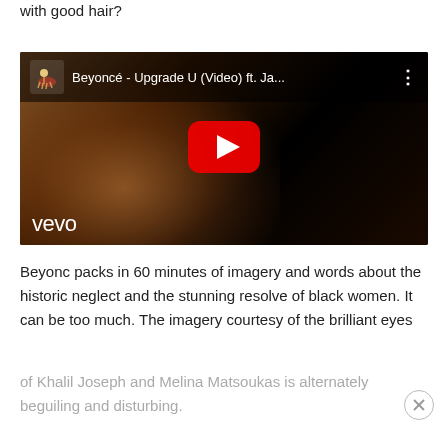with good hair?
[Figure (screenshot): Embedded YouTube video thumbnail showing Beyoncé - Upgrade U (Video) ft. Ja... with a Vevo watermark and red play button overlay]
Beyonc packs in 60 minutes of imagery and words about the historic neglect and the stunning resolve of black women. It can be too much. The imagery courtesy of the brilliant eyes of Khalil Joseph and Melina Matsoukas is alternately beguiling and disturbing.